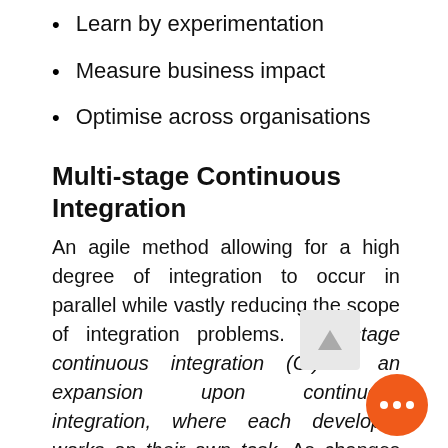Learn by experimentation
Measure business impact
Optimise across organisations
Multi-stage Continuous Integration
An agile method allowing for a high degree of integration to occur in parallel while vastly reducing the scope of integration problems. Multi-stage continuous integration (CI) is an expansion upon continuous integration, where each developer works on their own task. As changes are made, CI is done against that team's branch. If CI does not succeed, then that developer (possibly with help from their teammates) fixes the